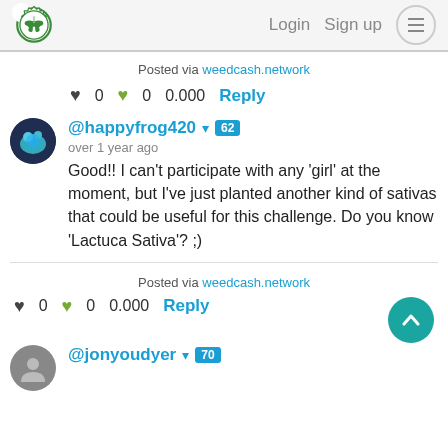Login  Sign up
Posted via weedcash.network
♥ 0  ♥ 0  0.000  Reply
@happyfrog420 62
over 1 year ago
Good!! I can't participate with any 'girl' at the moment, but I've just planted another kind of sativas that could be useful for this challenge. Do you know 'Lactuca Sativa'? ;)
Posted via weedcash.network
♥ 0  ♥ 0  0.000  Reply
@jonyoudyer 70